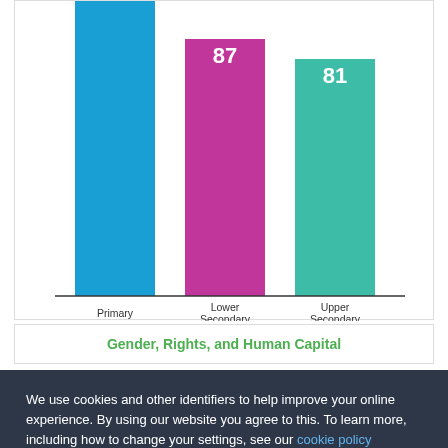[Figure (bar-chart): Education levels (partial view)]
Gender, Rights, and Human Capital
We use cookies and other identifiers to help improve your online experience. By using our website you agree to this. To learn more, including how to change your settings, see our cookie policy